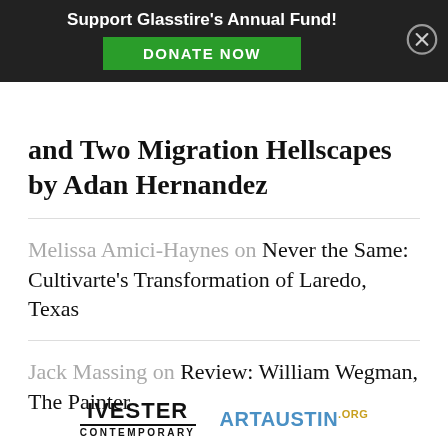Support Glasstire's Annual Fund! DONATE NOW
and Two Migration Hellscapes by Adan Hernandez
Melissa Amici-Haynes on Never the Same: Cultivarte's Transformation of Laredo, Texas
Jack Massing on Review: William Wegman, The Painter
[Figure (logo): Ivester Contemporary logo and ArtAustin.org logo side by side in the page footer]